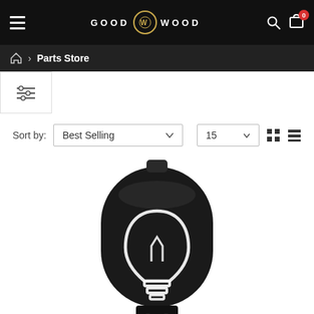GOOD WS WOOD — navigation bar with hamburger menu, logo, search and cart icons
Parts Store
[Figure (screenshot): Filter/sort controls row with Sort by: Best Selling dropdown, 15 per-page dropdown, grid and list view toggle icons]
[Figure (photo): Black product item with a lightbulb icon engraved on it — top portion visible against white background]